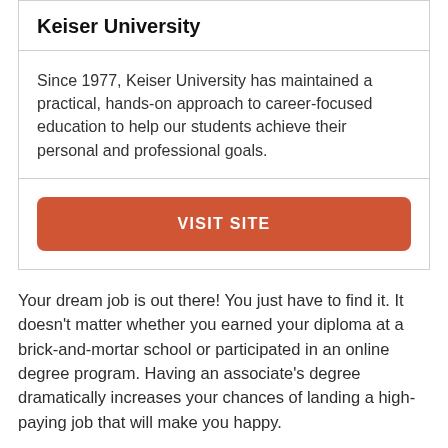Keiser University
Since 1977, Keiser University has maintained a practical, hands-on approach to career-focused education to help our students achieve their personal and professional goals.
VISIT SITE
Your dream job is out there! You just have to find it. It doesn’t matter whether you earned your diploma at a brick-and-mortar school or participated in an online degree program. Having an associate’s degree dramatically increases your chances of landing a high-paying job that will make you happy.
Remember that there are a lot of people applying to